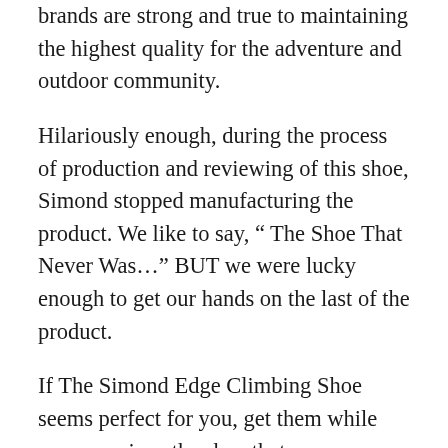brands are strong and true to maintaining the highest quality for the adventure and outdoor community.
Hilariously enough, during the process of production and reviewing of this shoe, Simond stopped manufacturing the product. We like to say, “ The Shoe That Never Was…” BUT we were lucky enough to get our hands on the last of the product.
If The Simond Edge Climbing Shoe seems perfect for you, get them while you can, since the shoe that never was, will go quickly! Push